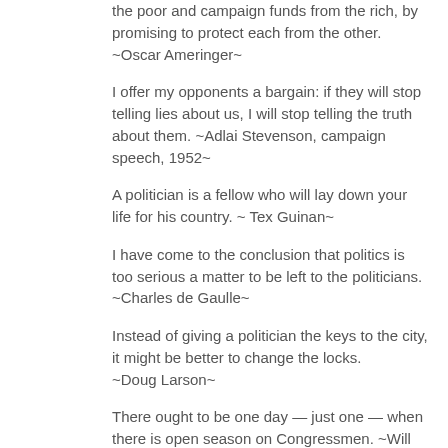the poor and campaign funds from the rich, by promising to protect each from the other. ~Oscar Ameringer~
I offer my opponents a bargain: if they will stop telling lies about us, I will stop telling the truth about them. ~Adlai Stevenson, campaign speech, 1952~
A politician is a fellow who will lay down your life for his country. ~ Tex Guinan~
I have come to the conclusion that politics is too serious a matter to be left to the politicians. ~Charles de Gaulle~
Instead of giving a politician the keys to the city, it might be better to change the locks. ~Doug Larson~
There ought to be one day — just one — when there is open season on Congressmen. ~Will